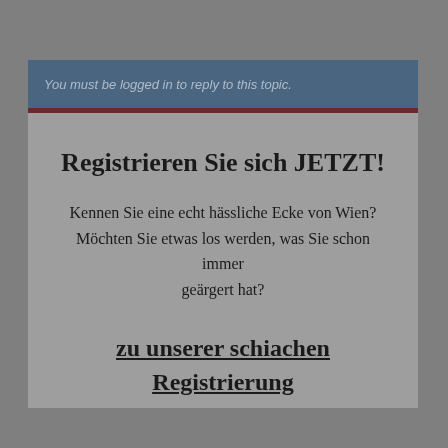You must be logged in to reply to this topic.
Registrieren Sie sich JETZT!
Kennen Sie eine echt hässliche Ecke von Wien? Möchten Sie etwas los werden, was Sie schon immer geärgert hat?
zu unserer schiachen Registrierung